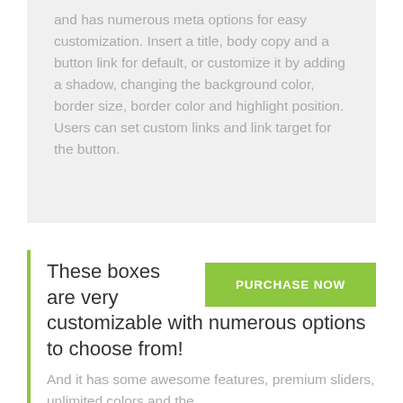and has numerous meta options for easy customization. Insert a title, body copy and a button link for default, or customize it by adding a shadow, changing the background color, border size, border color and highlight position. Users can set custom links and link target for the button.
These boxes are very customizable with numerous options to choose from!
PURCHASE NOW
And it has some awesome features, premium sliders, unlimited colors and the...